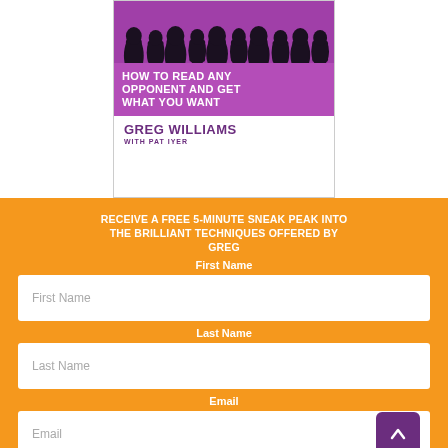[Figure (illustration): Book cover for 'How to Read Any Opponent and Get What You Want' by Greg Williams with Pat Iyer, showing silhouettes at top on purple background, title text in white on magenta, and author name in purple on white.]
RECEIVE A FREE 5-MINUTE SNEAK PEAK INTO THE BRILLIANT TECHNIQUES OFFERED BY GREG
First Name
First Name
Last Name
Last Name
Email
Email